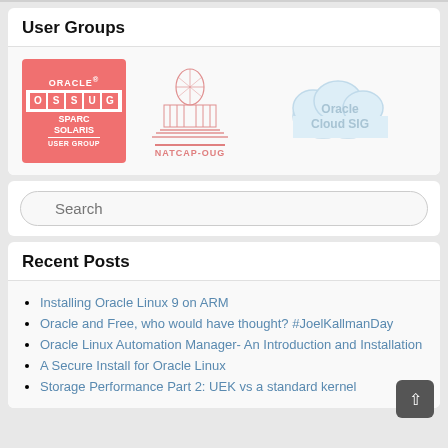User Groups
[Figure (logo): Three logos: Oracle OSSUG SPARC Solaris User Group (red), NATCAP-OUG (pink capitol building), Oracle Cloud SIG (light blue cloud)]
[Figure (other): Search input box with magnifying glass icon and placeholder text 'Search']
Recent Posts
Installing Oracle Linux 9 on ARM
Oracle and Free, who would have thought? #JoelKallmanDay
Oracle Linux Automation Manager- An Introduction and Installation
A Secure Install for Oracle Linux
Storage Performance Part 2: UEK vs a standard kernel